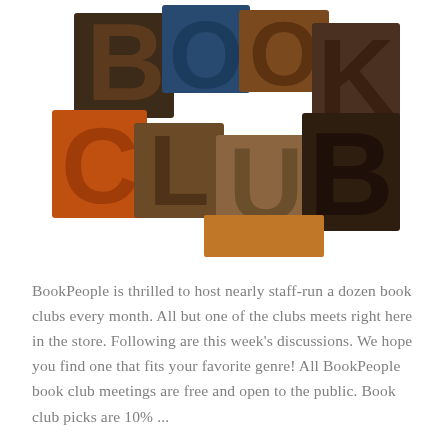[Figure (photo): A decorative image of wooden letterpress blocks arranged to spell out BOOK CLUB in large bold letters, with varying wood tones including brown, dark brown, orange, and blue.]
BookPeople is thrilled to host nearly staff-run a dozen book clubs every month. All but one of the clubs meets right here in the store. Following are this week's discussions. We hope you find one that fits your favorite genre! All BookPeople book club meetings are free and open to the public. Book club picks are 10% ...